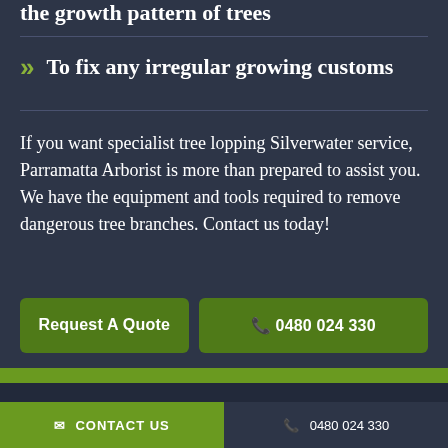the growth pattern of trees
To fix any irregular growing customs
If you want specialist tree lopping Silverwater service, Parramatta Arborist is more than prepared to assist you. We have the equipment and tools required to remove dangerous tree branches. Contact us today!
Request A Quote
0480 024 330
CONTACT US  |  0480 024 330